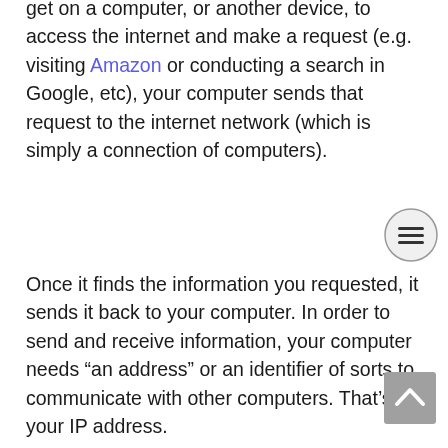get on a computer, or another device, to access the internet and make a request (e.g. visiting Amazon or conducting a search in Google, etc), your computer sends that request to the internet network (which is simply a connection of computers).
[Figure (other): Hamburger menu button — circle with three horizontal lines]
Once it finds the information you requested, it sends it back to your computer. In order to send and receive information, your computer needs "an address" or an identifier of sorts to communicate with other computers. That's your IP address.
[Figure (other): Scroll-to-top button — grey square with upward chevron]